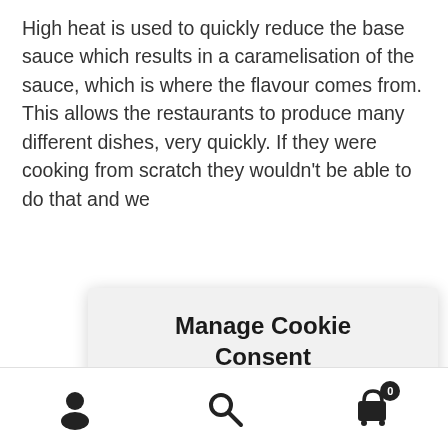High heat is used to quickly reduce the base sauce which results in a caramelisation of the sauce, which is where the flavour comes from. This allows the restaurants to produce many different dishes, very quickly. If they were cooking from scratch they wouldn't be able to do that and we
Of a
dim … ry. Du … have had a small price increase of no more than 4%
Dismiss
[Figure (screenshot): Cookie consent modal dialog with title 'Manage Cookie Consent', body text 'We use cookies to optimise our website and our service.', and three buttons: 'Accept cookies' (red), 'Deny' (blue text), 'View preferences' (blue outline)]
[Figure (infographic): Bottom navigation toolbar with person/user icon, search/magnifying glass icon, and shopping cart icon with badge showing 0]